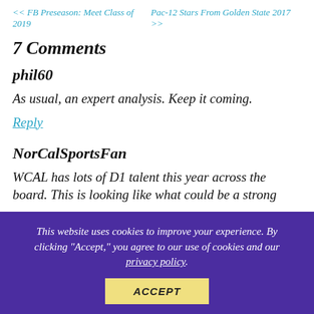<< FB Preseason: Meet Class of 2019    Pac-12 Stars From Golden State 2017 >>
7 Comments
phil60
As usual, an expert analysis. Keep it coming.
Reply
NorCalSportsFan
WCAL has lots of D1 talent this year across the board. This is looking like what could be a strong year for the WCAL
This website uses cookies to improve your experience. By clicking "Accept," you agree to our use of cookies and our privacy policy.
ACCEPT